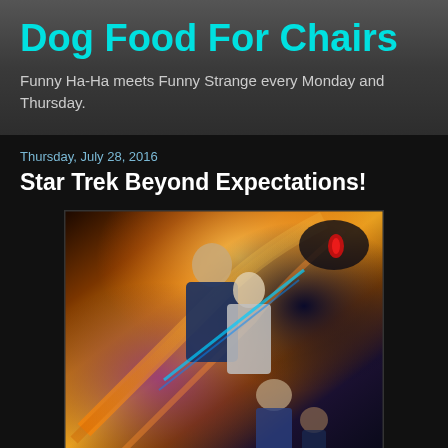Dog Food For Chairs
Funny Ha-Ha meets Funny Strange every Monday and Thursday.
Thursday, July 28, 2016
Star Trek Beyond Expectations!
[Figure (photo): Star Trek Beyond movie poster showing characters including Captain Kirk and alien crew members against a colorful cosmic background with orange and gold light streaks]